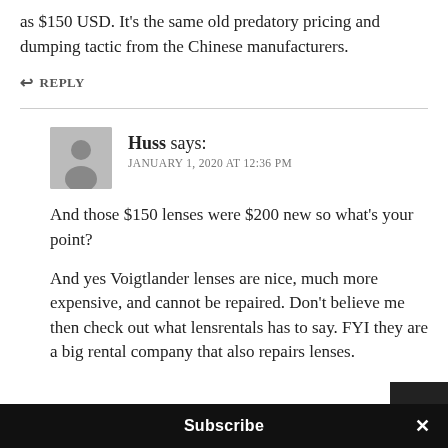as $150 USD. It's the same old predatory pricing and dumping tactic from the Chinese manufacturers.
↩ REPLY
Huss says: JANUARY 1, 2020 AT 12:36 PM
And those $150 lenses were $200 new so what's your point?
And yes Voigtlander lenses are nice, much more expensive, and cannot be repaired. Don't believe me then check out what lensrentals has to say. FYI they are a big rental company that also repairs lenses.
Subscribe ×